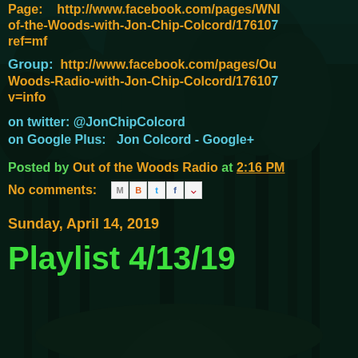Page:   http://www.facebook.com/pages/WNI...-of-the-Woods-with-Jon-Chip-Colcord/17610...ref=mf
Group:  http://www.facebook.com/pages/Out...-Woods-Radio-with-Jon-Chip-Colcord/17610...v=info
on twitter: @JonChipColcord
on Google Plus:  Jon Colcord - Google+
Posted by Out of the Woods Radio at 2:16 PM
No comments:
Sunday, April 14, 2019
Playlist 4/13/19